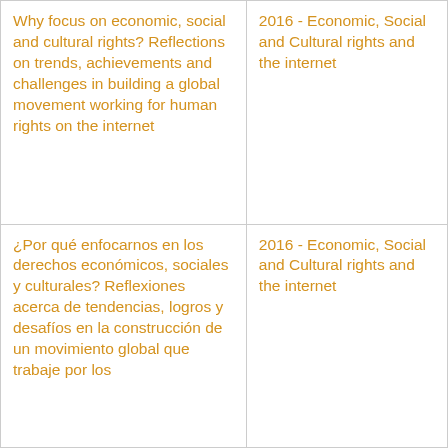| Why focus on economic, social and cultural rights? Reflections on trends, achievements and challenges in building a global movement working for human rights on the internet | 2016 - Economic, Social and Cultural rights and the internet |
| ¿Por qué enfocarnos en los derechos económicos, sociales y culturales? Reflexiones acerca de tendencias, logros y desafíos en la construcción de un movimiento global que trabaje por los | 2016 - Economic, Social and Cultural rights and the internet |